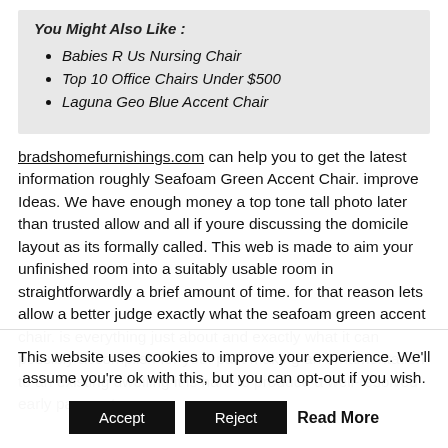You Might Also Like :
Babies R Us Nursing Chair
Top 10 Office Chairs Under $500
Laguna Geo Blue Accent Chair
bradshomefurnishings.com can help you to get the latest information roughly Seafoam Green Accent Chair. improve Ideas. We have enough money a top tone tall photo later than trusted allow and all if youre discussing the domicile layout as its formally called. This web is made to aim your unfinished room into a suitably usable room in straightforwardly a brief amount of time. for that reason lets allow a better judge exactly what the seafoam green accent chair. is everything just about and exactly what it can possibly accomplish for you. past making an ornamentation to an existing dwelling it is hard to produce a well-resolved early payment
This website uses cookies to improve your experience. We'll assume you're ok with this, but you can opt-out if you wish.